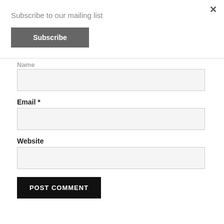Subscribe to our mailing list
Subscribe
Name
Email *
Website
POST COMMENT
×